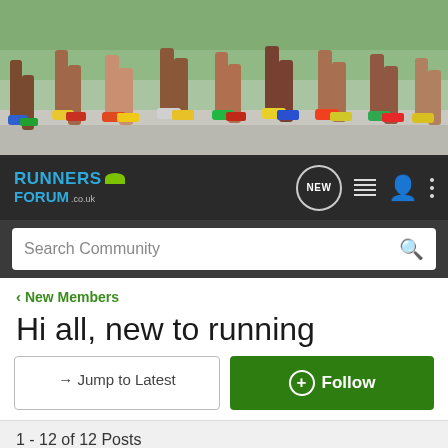[Figure (photo): Banner photo showing runners' legs and feet in colorful sneakers running on a road, with blurred background of flowers/greenery]
[Figure (logo): Runners Forum .co.uk logo in blue text with green bird/swoosh icon, on dark background navigation bar with NEW bubble, list icon, user icon, and three-dot menu]
Search Community
< New Members
Hi all, new to running
→ Jump to Latest
+ Follow
1 - 12 of 12 Posts
kiwifruit · Registered
Joined Feb 12, 2008 · 204 Posts